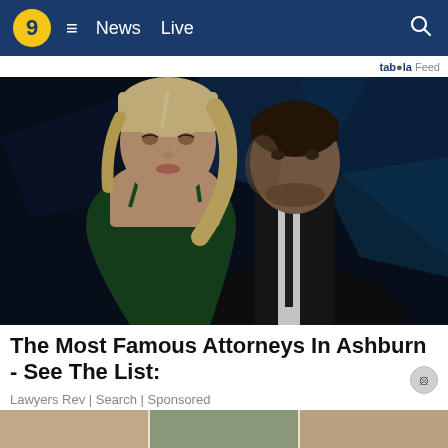9  ≡  News  Live
taboola Feed
[Figure (photo): A blonde woman in a green dress and a dark-haired man in a black suit posing together against a dark blue background]
The Most Famous Attorneys In Ashburn - See The List:
Lawyers Rev | Search | Sponsored